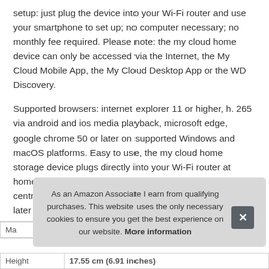setup: just plug the device into your Wi-Fi router and use your smartphone to set up; no computer necessary; no monthly fee required. Please note: the my cloud home device can only be accessed via the Internet, the My Cloud Mobile App, the My Cloud Desktop App or the WD Discovery.
Supported browsers: internet explorer 11 or higher, h. 265 via android and ios media playback, microsoft edge, google chrome 50 or later on supported Windows and macOS platforms. Easy to use, the my cloud home storage device plugs directly into your Wi-Fi router at home so you can save all your digital content in one central place. Compatible with windows 7 64-bit only or later and Mac OS X v1010 or later.
[Figure (screenshot): Cookie consent overlay with message: 'As an Amazon Associate I earn from qualifying purchases. This website uses the only necessary cookies to ensure you get the best experience on our website. More information' and an X close button.]
| Ma |  |
| Height | 17.55 cm (6.91 inches) |